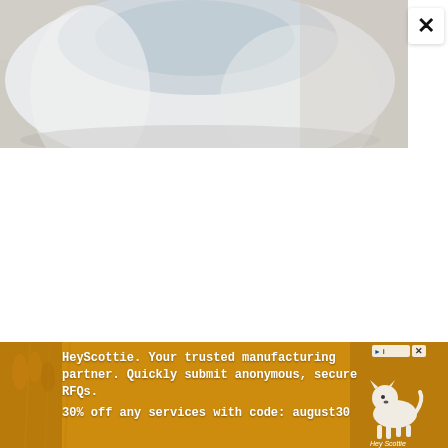[Figure (photo): A white ceramic cup/bowl on a light wooden or beige surface, photographed from above-angle, showing the interior of the cup partially. The image is cropped at the top portion of the page.]
[Figure (screenshot): A white close button (X) in upper right area, overlapping the photo.]
[Figure (screenshot): A white dropdown button with a downward chevron arrow in lower left area.]
[Figure (infographic): HeyScottie advertisement banner with golden/amber wheat background texture. Contains a dog logo and text: 'HeyScottie. Your trusted manufacturing partner. Quickly submit anonymous, secure RFQs.' and '30% off any services with code: august30'. Has AdChoices and close (X) controls in top right.]